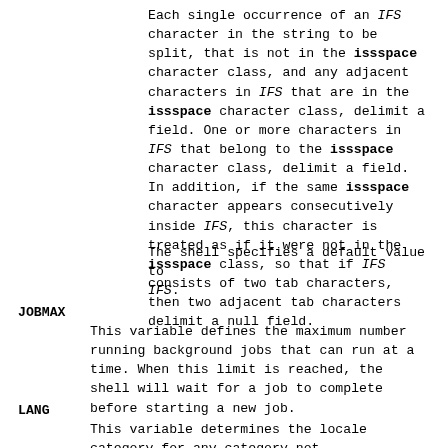Each single occurrence of an IFS character in the string to be split, that is not in the issspace character class, and any adjacent characters in IFS that are in the issspace character class, delimit a field. One or more characters in IFS that belong to the issspace character class, delimit a field. In addition, if the same issspace character appears consecutively inside IFS, this character is treated as if it were not in the issspace class, so that if IFS consists of two tab characters, then two adjacent tab characters delimit a null field.
The shell specifies a default value to IFS.
JOBMAX
This variable defines the maximum number running background jobs that can run at a time. When this limit is reached, the shell will wait for a job to complete before starting a new job.
LANG
This variable determines the locale category for any category not